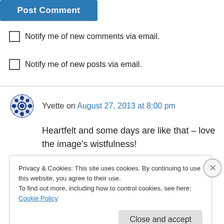[Figure (other): Blue 'Post Comment' button, partially visible at top]
Notify me of new comments via email.
Notify me of new posts via email.
Yvette on August 27, 2013 at 8:00 pm
Heartfelt and some days are like that – love the image's wistfulness!
↳ Reply
Privacy & Cookies: This site uses cookies. By continuing to use this website, you agree to their use.
To find out more, including how to control cookies, see here: Cookie Policy
Close and accept